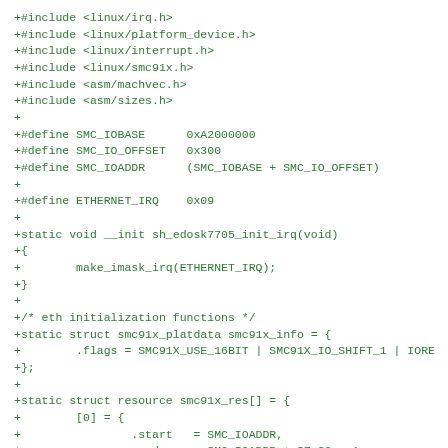+#include <linux/irq.h>
+#include <linux/platform_device.h>
+#include <linux/interrupt.h>
+#include <linux/smc91x.h>
+#include <asm/machvec.h>
+#include <asm/sizes.h>
+
+#define SMC_IOBASE      0xA2000000
+#define SMC_IO_OFFSET   0x300
+#define SMC_IOADDR      (SMC_IOBASE + SMC_IO_OFFSET)
+
+#define ETHERNET_IRQ    0x09
+
+static void __init sh_edosk7705_init_irq(void)
+{
+        make_imask_irq(ETHERNET_IRQ);
+}
+
+/* eth initialization functions */
+static struct smc91x_platdata smc91x_info = {
+        .flags = SMC91X_USE_16BIT | SMC91X_IO_SHIFT_1 | IORE
+};
+
+static struct resource smc91x_res[] = {
+        [0] = {
+                .start   = SMC_IOADDR,
+                .end     = SMC_IOADDR + SZ_32 - 1,
+                .flags   = IORESOURCE_MEM,
+        },
+        [1] = {
+                .start   = ETHERNET_IRQ,
+                .end     = ETHERNET_IRQ,